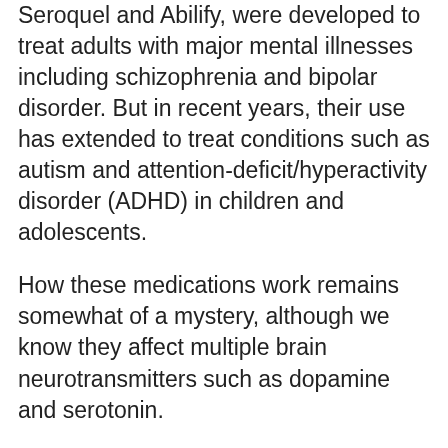Seroquel and Abilify, were developed to treat adults with major mental illnesses including schizophrenia and bipolar disorder. But in recent years, their use has extended to treat conditions such as autism and attention-deficit/hyperactivity disorder (ADHD) in children and adolescents.
How these medications work remains somewhat of a mystery, although we know they affect multiple brain neurotransmitters such as dopamine and serotonin.
Because these medications' side effects include an increased risk for conditions such as obesity, diabetes and movement disorders, they're subject to extra scrutiny to make sure that the right medications are being prescribed to the right patients at the right time.
For instance, the American Academy of Child and